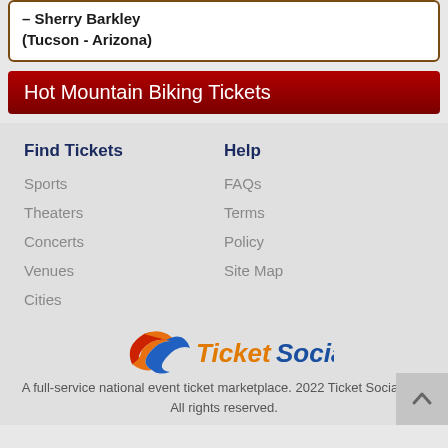– Sherry Barkley (Tucson - Arizona)
Hot Mountain Biking Tickets
Find Tickets
Sports
Theaters
Concerts
Venues
Cities
Help
FAQs
Terms
Policy
Site Map
[Figure (logo): Ticket Social logo with stylized swoosh in red, orange and blue colors]
A full-service national event ticket marketplace. 2022 Ticket Social Ltd. All rights reserved.